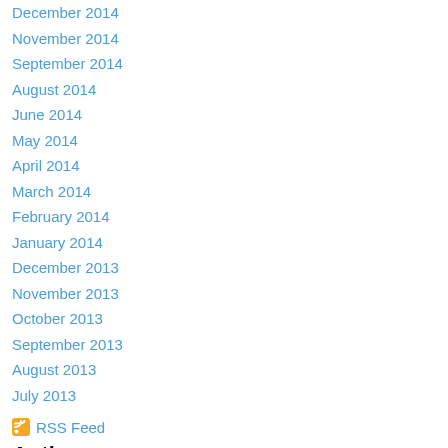December 2014
November 2014
September 2014
August 2014
June 2014
May 2014
April 2014
March 2014
February 2014
January 2014
December 2013
November 2013
October 2013
September 2013
August 2013
July 2013
RSS Feed
Author
F. E. Clark